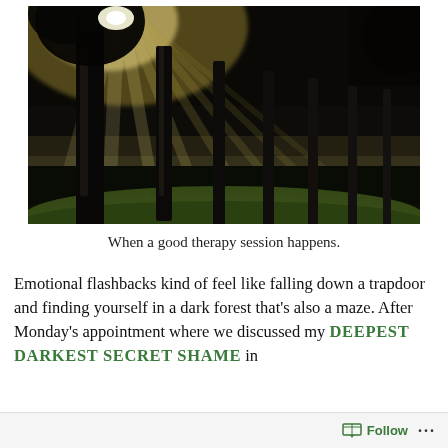[Figure (photo): A dramatic forest photograph showing sunlight rays breaking through tall trees in a misty forest, with green grass on the ground and dark silhouetted tree trunks]
When a good therapy session happens.
Emotional flashbacks kind of feel like falling down a trapdoor and finding yourself in a dark forest that’s also a maze. After Monday’s appointment where we discussed my DEEPEST DARKEST SECRET SHAME in
Follow ...